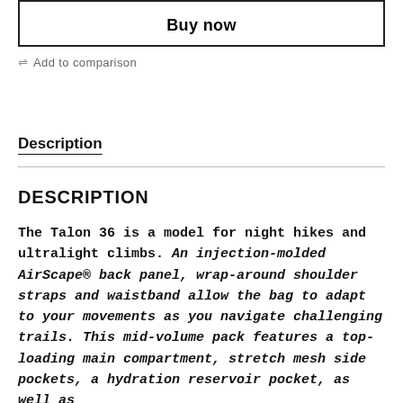Buy now
Add to comparison
Description
DESCRIPTION
The Talon 36 is a model for night hikes and ultralight climbs. An injection-molded AirScape® back panel, wrap-around shoulder straps and waistband allow the bag to adapt to your movements as you navigate challenging trails. This mid-volume pack features a top-loading main compartment, stretch mesh side pockets, a hydration reservoir pocket, as well as